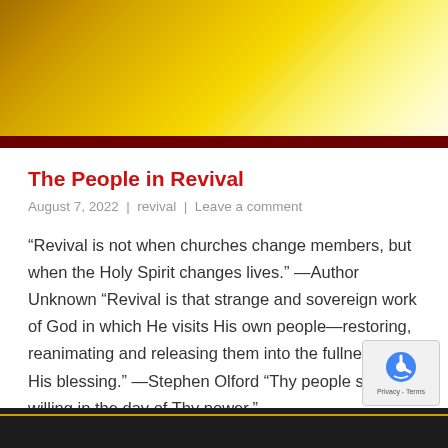[Figure (photo): Website header banner with golden/yellow gradient background and dark red horizontal bar at the bottom]
The People in Revival
August 7, 2022  |  revival  |  Leave a comment
“Revival is not when churches change members, but when the Holy Spirit changes lives.” —Author Unknown “Revival is that strange and sovereign work of God in which He visits His own people—restoring, reanimating and releasing them into the fullness of His blessing.” —Stephen Olford “Thy people shall be willing in the day of Thy power.”…
Privacy - Terms